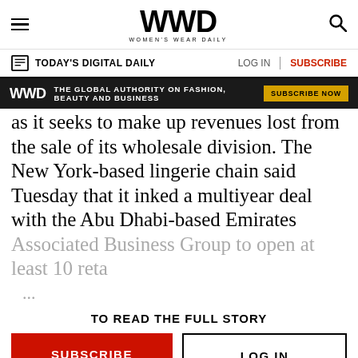WWD — WOMEN'S WEAR DAILY
TODAY'S DIGITAL DAILY   LOG IN   SUBSCRIBE
[Figure (infographic): Black banner ad: WWD logo, text 'THE GLOBAL AUTHORITY ON FASHION, BEAUTY AND BUSINESS', yellow 'SUBSCRIBE NOW' button]
as it seeks to make up revenues lost from the sale of its wholesale division. The New York-based lingerie chain said Tuesday that it inked a multiyear deal with the Abu Dhabi-based Emirates Associated Business Group to open at least 10 reta ...
TO READ THE FULL STORY
SUBSCRIBE   LOG IN
[Figure (logo): WWD logo at bottom of page]